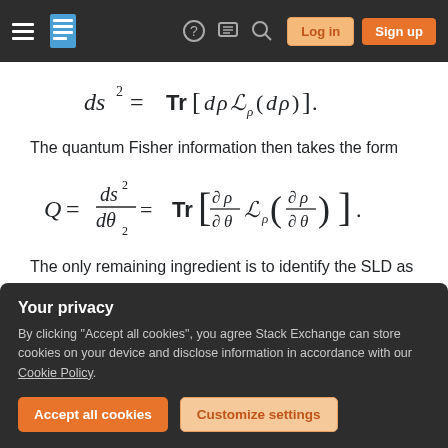[Figure (screenshot): Stack Exchange website navigation bar with hamburger menu, logo, help, chat, search icons, and Log in / Sign up buttons]
The quantum Fisher information then takes the form
The only remaining ingredient is to identify the SLD as
Your privacy
By clicking "Accept all cookies", you agree Stack Exchange can store cookies on your device and disclose information in accordance with our Cookie Policy.
states